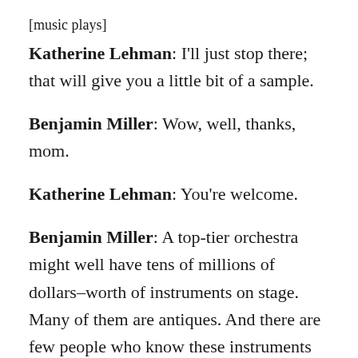[music plays]
Katherine Lehman: I'll just stop there; that will give you a little bit of a sample.
Benjamin Miller: Wow, well, thanks, mom.
Katherine Lehman: You're welcome.
Benjamin Miller: A top-tier orchestra might well have tens of millions of dollars–worth of instruments on stage. Many of them are antiques. And there are few people who know these instruments more intimately than Paul Becker. He's the fifth generation of a 150-year-old business. He and his family have restored the